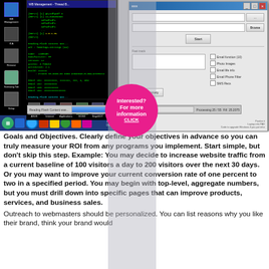[Figure (screenshot): Screenshot of a Windows desktop showing a terminal with green-on-black text output, a Windows dialog box/application on the right side, and a progress bar at the bottom. A magenta/pink circular badge with 'Interested? For more information CLICK' overlays the center.]
Goals and Objectives. Clearly define your objectives in advance so you can truly measure your ROI from any programs you implement. Start simple, but don't skip this step. Example: You may decide to increase website traffic from a current baseline of 100 visitors a day to 200 visitors over the next 30 days. Or you may want to improve your current conversion rate of one percent to two in a specified period. You may begin with top-level, aggregate numbers, but you must drill down into specific pages that can improve products, services, and business sales.
Outreach to webmasters should be personalized. You can list reasons why you like their brand, think your brand would